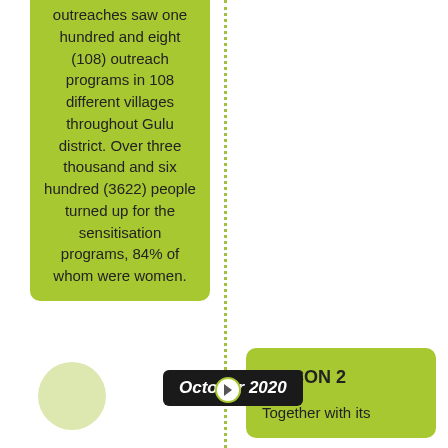outreaches saw one hundred and eight (108) outreach programs in 108 different villages throughout Gulu district. Over three thousand and six hundred (3622) people turned up for the sensitisation programs, 84% of whom were women.
October 2020
LAICON 2

Together with its